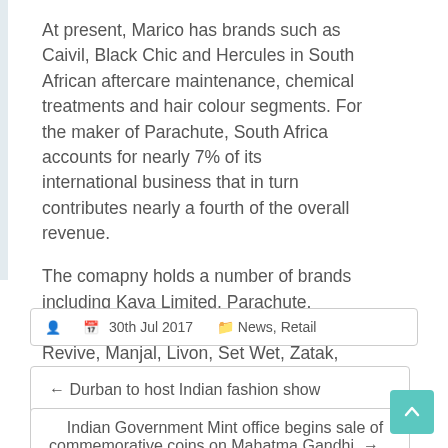At present, Marico has brands such as Caivil, Black Chic and Hercules in South African aftercare maintenance, chemical treatments and hair colour segments. For the maker of Parachute, South Africa accounts for nearly 7% of its international business that in turn contributes nearly a fourth of the overall revenue.
The comapny holds a number of brands including Kaya Limited, Parachute, Saffola, Hair&Care, Nihar, Mediker, Revive, Manjal, Livon, Set Wet, Zatak, Fiancee, HairCode, Eclipse, X-Men, Hercules, Caivil, Code 10 and Black Chic.
30th Jul 2017   News, Retail
← Durban to host Indian fashion show
Indian Government Mint office begins sale of commemorative coins on Mahatma Gandhi →